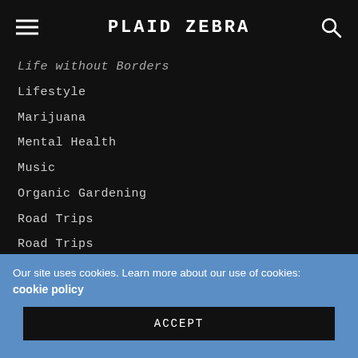PLAID ZEBRA
Life without Borders
Lifestyle
Marijuana
Mental Health
Music
Organic Gardening
Road Trips
Road Trips
Shipping Container Homes
Sponsored
Sustainability
Technology
The Dunce Cap
Tiny House Living
Travel
Our site uses cookies. Learn more about our use of cookies: cookie policy
ACCEPT